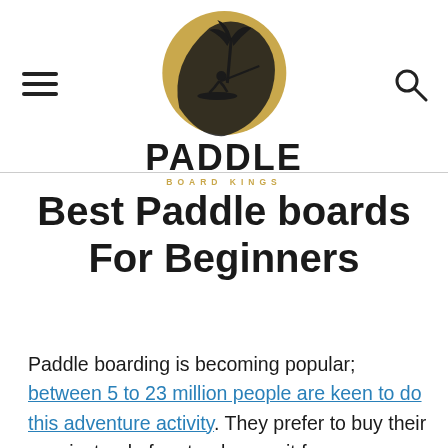[Figure (logo): Paddle Board Kings logo: circular golden emblem with palm tree and paddleboarder silhouette, with text PADDLE in bold black and BOARD KINGS in gold below]
Best Paddle boards For Beginners
Paddle boarding is becoming popular; between 5 to 23 million people are keen to do this adventure activity. They prefer to buy their own instead of rent or borrow it from a